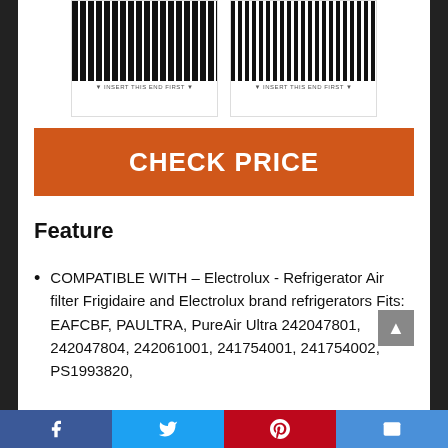[Figure (photo): Two refrigerator air filter product images side by side, showing black carbon filter panels in white packaging with small text labels at bottom]
CHECK PRICE
Feature
COMPATIBLE WITH – Electrolux - Refrigerator Air filter Frigidaire and Electrolux brand refrigerators Fits: EAFCBF, PAULTRA, PureAir Ultra 242047801, 242047804, 242061001, 241754001, 241754002, PS1993820,
Facebook | Twitter | Pinterest | Email